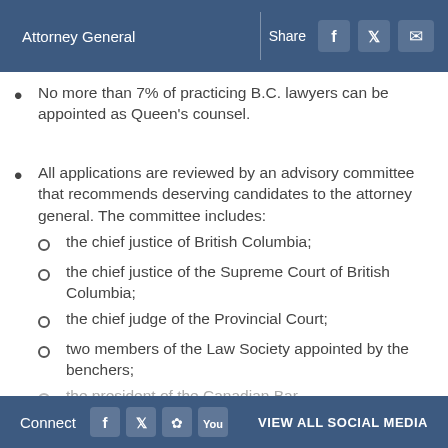Attorney General | Share [Facebook] [Twitter] [Email]
No more than 7% of practicing B.C. lawyers can be appointed as Queen's counsel.
All applications are reviewed by an advisory committee that recommends deserving candidates to the attorney general. The committee includes: the chief justice of British Columbia; the chief justice of the Supreme Court of British Columbia; the chief judge of the Provincial Court; two members of the Law Society appointed by the benchers; the president of the Canadian Bar [...]
Connect [Facebook] [Twitter] [Flickr] [YouTube] VIEW ALL SOCIAL MEDIA